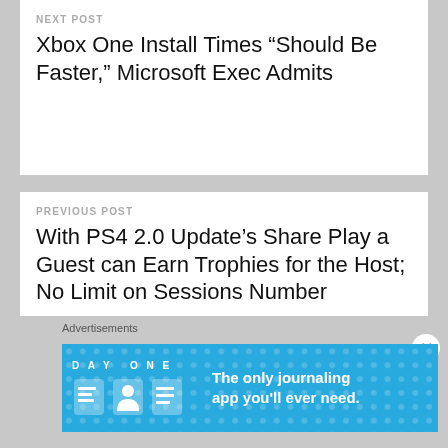NEXT POST
Xbox One Install Times “Should Be Faster,” Microsoft Exec Admits
PREVIOUS POST
With PS4 2.0 Update’s Share Play a Guest can Earn Trophies for the Host; No Limit on Sessions Number
Advertisements
[Figure (other): Day One journaling app advertisement banner with blue background, app icons, and text: The only journaling app you'll ever need.]